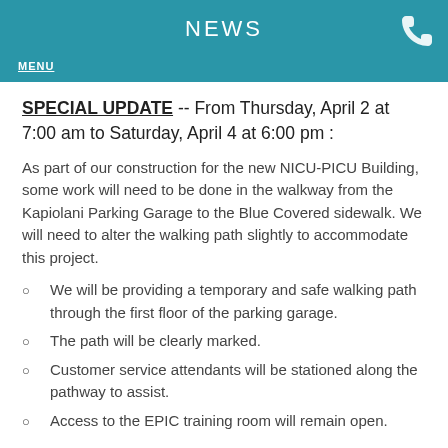NEWS
SPECIAL UPDATE -- From Thursday, April 2 at 7:00 am to Saturday, April 4 at 6:00 pm :
As part of our construction for the new NICU-PICU Building, some work will need to be done in the walkway from the Kapiolani Parking Garage to the Blue Covered sidewalk. We will need to alter the walking path slightly to accommodate this project.
We will be providing a temporary and safe walking path through the first floor of the parking garage.
The path will be clearly marked.
Customer service attendants will be stationed along the pathway to assist.
Access to the EPIC training room will remain open.